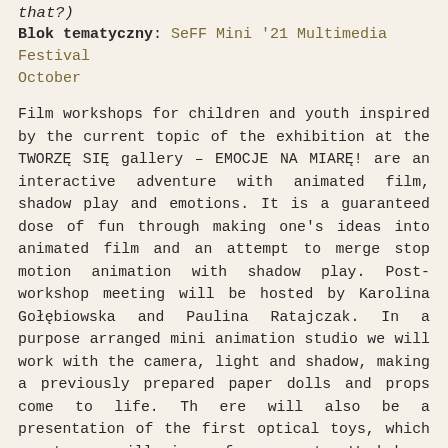that?)
Blok tematyczny: SeFF Mini '21 Multimedia Festival October
Film workshops for children and youth inspired by the current topic of the exhibition at the TWORZĘ SIĘ gallery – EMOCJE NA MIARĘ! are an interactive adventure with animated film, shadow play and emotions. It is a guaranteed dose of fun through making one's ideas into animated film and an attempt to merge stop motion animation with shadow play. Post-workshop meeting will be hosted by Karolina Gołębiowska and Paulina Ratajczak. In a purpose arranged mini animation studio we will work with the camera, light and shadow, making a previously prepared paper dolls and props come to life. Th ere will also be a presentation of the first optical toys, which create an illusion of movement. Workshops conducted in accordance with the recommendations of the Ministry of Health.